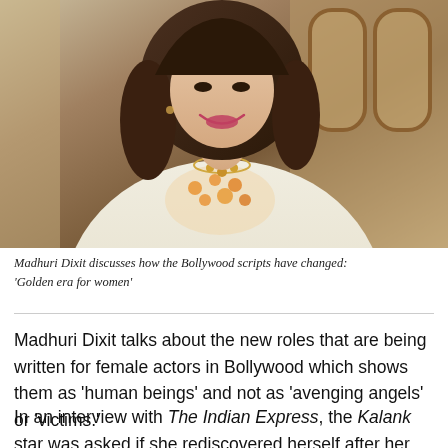[Figure (photo): Madhuri Dixit smiling, wearing a white/cream embroidered kurta with orange floral embroidery and a floral necklace. Long wavy brown hair. Background shows ornate arched wooden paneling.]
Madhuri Dixit discusses how the Bollywood scripts have changed: 'Golden era for women'
Madhuri Dixit talks about the new roles that are being written for female actors in Bollywood which shows them as 'human beings' and not as 'avenging angels' or 'victims.'
In an interview with The Indian Express, the Kalank star was asked if she rediscovered herself after her OTT series The Fame Game, to which she replied, "I don't think I rediscovered myself"